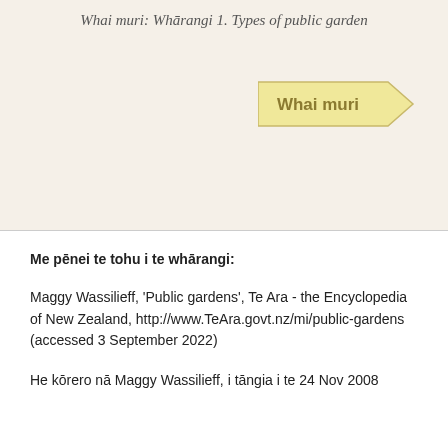Whai muri: Whārangi 1. Types of public garden
[Figure (other): Arrow-shaped navigation button labeled 'Whai muri' in gold/yellow color pointing right]
Me pēnei te tohu i te whārangi:
Maggy Wassilieff, 'Public gardens', Te Ara - the Encyclopedia of New Zealand, http://www.TeAra.govt.nz/mi/public-gardens (accessed 3 September 2022)
He kōrero nā Maggy Wassilieff, i tāngia i te 24 Nov 2008
He kōrero anō mō...
Ngā Rākau me ngā Māra
Mō te paetukutuku   Whakapā mai   Rārangi Wh...